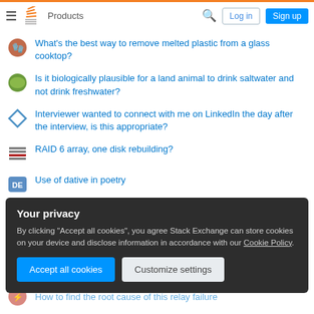Stack Exchange — Products | Log in | Sign up
What's the best way to remove melted plastic from a glass cooktop?
Is it biologically plausible for a land animal to drink saltwater and not drink freshwater?
Interviewer wanted to connect with me on LinkedIn the day after the interview, is this appropriate?
RAID 6 array, one disk rebuilding?
Use of dative in poetry
What is the meaning and use of "tät"?
Pascal's Triangle Generator
Show inequality for positive real numbers
Your privacy
By clicking "Accept all cookies", you agree Stack Exchange can store cookies on your device and disclose information in accordance with our Cookie Policy.
How to find the root cause of this relay failure